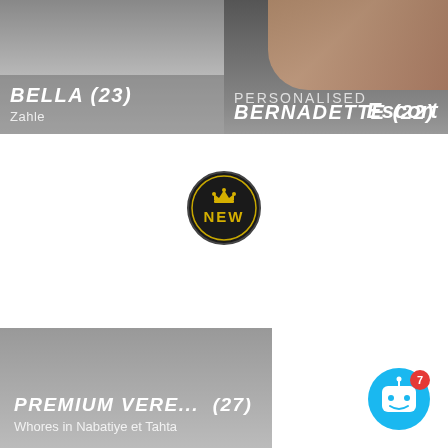[Figure (screenshot): Escort listing card left: BELLA (23), Zahle, gray background]
[Figure (screenshot): Escort listing card right: BERNADETTE (22), PERSONALISED, Escort label, dark background with skin-tone image]
[Figure (logo): NEW badge: dark circular badge with gold crown and NEW text in gold on dark background]
[Figure (screenshot): Bottom listing card: PREMIUM VERE... (27), Whores in Nabatiye et Tahta, gray background]
[Figure (other): Chat button: blue circle with white chat bot face icon and red notification badge showing 7]